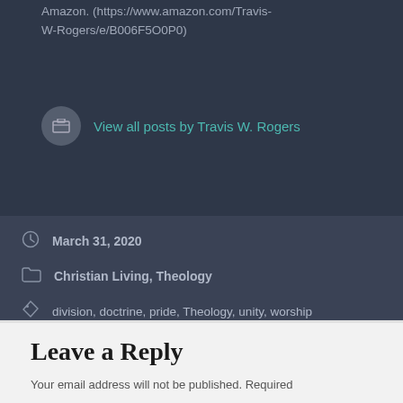Amazon. (https://www.amazon.com/Travis-W-Rogers/e/B006F5O0P0)
View all posts by Travis W. Rogers
March 31, 2020
Christian Living, Theology
division, doctrine, pride, Theology, unity, worship
Litmus Test for Dummies
Man vs. God
Leave a Reply
Your email address will not be published. Required